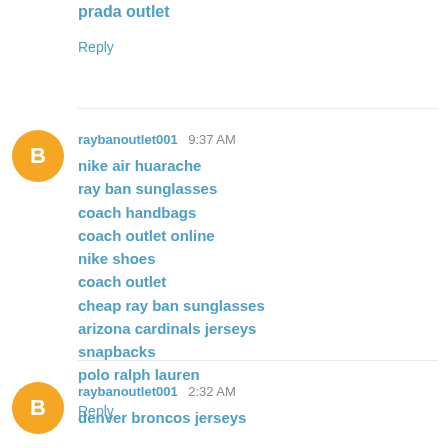prada outlet
Reply
raybanoutlet001  9:37 AM
nike air huarache
ray ban sunglasses
coach handbags
coach outlet online
nike shoes
coach outlet
cheap ray ban sunglasses
arizona cardinals jerseys
snapbacks
polo ralph lauren
Reply
raybanoutlet001  2:32 AM
denver broncos jerseys